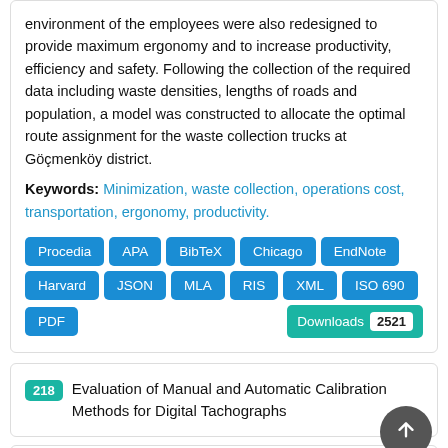environment of the employees were also redesigned to provide maximum ergonomy and to increase productivity, efficiency and safety. Following the collection of the required data including waste densities, lengths of roads and population, a model was constructed to allocate the optimal route assignment for the waste collection trucks at Göçmenköy district.
Keywords: Minimization, waste collection, operations cost, transportation, ergonomy, productivity.
[Figure (screenshot): Citation format buttons: Procedia, APA, BibTeX, Chicago, EndNote, Harvard, JSON, MLA, RIS, XML, ISO 690, PDF; Downloads badge showing 2521]
218 Evaluation of Manual and Automatic Calibration Methods for Digital Tachographs